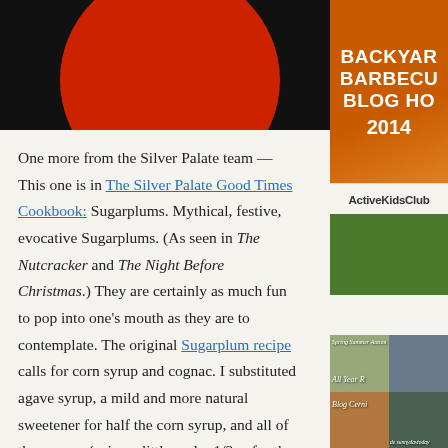[Figure (photo): Top left: dark background with red circle partially visible (food/cookbook related image)]
[Figure (photo): Top right: Orange BBQ badge with text BACKYAR BARBECU BLOG HO 2014 on colorful background]
One more from the Silver Palate team — This one is in The Silver Palate Good Times Cookbook: Sugarplums. Mythical, festive, evocative Sugarplums. (As seen in The Nutcracker and The Night Before Christmas.) They are certainly as much fun to pop into one's mouth as they are to contemplate. The original Sugarplum recipe calls for corn syrup and cognac. I substituted agave syrup, a mild and more natural sweetener for half the corn syrup, and all of the cognac (using a little under 1/3 c. for the cognac portion.) And I did away with the cherry on top, the better to enjoy the pure, undiluted Sugarplum experience.
[Figure (photo): Right sidebar: Active Kids Club badge and grid of blog carnival images]
Active Kids Club